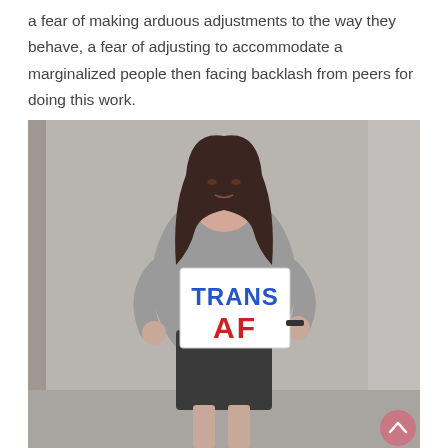a fear of making arduous adjustments to the way they behave, a fear of adjusting to accommodate a marginalized people then facing backlash from peers for doing this work.
[Figure (photo): A young woman with long dark hair wearing a grey cardigan over a black outfit, standing against a grey wall, holding a white sign that reads 'TRANS AF' in blue and red bold letters.]